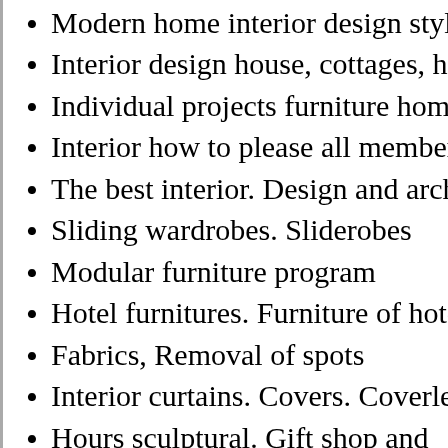Modern home interior design styles
Interior design house, cottages, hote
Individual projects furniture home
Interior how to please all members o
The best interior. Design and archite
Sliding wardrobes. Sliderobes
Modular furniture program
Hotel furnitures. Furniture of hotels
Fabrics, Removal of spots
Interior curtains. Covers. Coverlets
Hours sculptural. Gift shop and busi souvenirs
Fixture gift, souvenir for memory
Sculpture and figurines. Original gif
unusual souvenirs